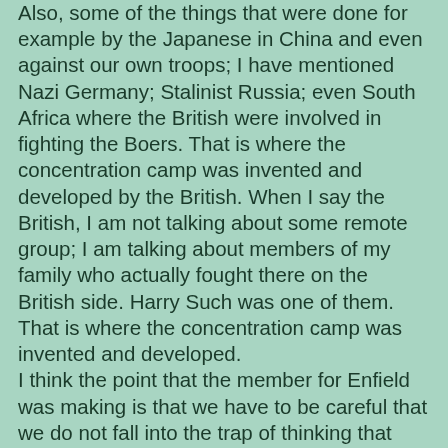Also, some of the things that were done for example by the Japanese in China and even against our own troops; I have mentioned Nazi Germany; Stalinist Russia; even South Africa where the British were involved in fighting the Boers. That is where the concentration camp was invented and developed by the British. When I say the British, I am not talking about some remote group; I am talking about members of my family who actually fought there on the British side. Harry Such was one of them. That is where the concentration camp was invented and developed.
I think the point that the member for Enfield was making is that we have to be careful that we do not fall into the trap of thinking that humans will never again be capable of evil acts like genocide. Whilst sometimes I am critical of some aspects of what is called multiculturalism in Australia because I think some people politicise it, I think its great overwhelming strength is that it promotes tolerance. If you do not have that tolerance, understanding and empathy of others then ultimately you can get into this trap of the sort of evil that is reflected in what happened to the Armenians and others in that area between 1915 and 1923.
It is very important that amongst our children we develop a sense of empathy, consideration and understanding of